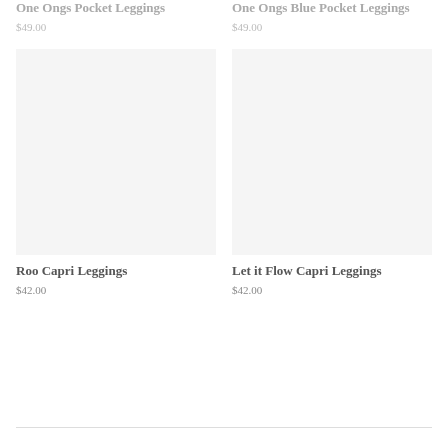One Ongs Pocket Leggings
$49.00
One Ongs Blue Pocket Leggings
$49.00
[Figure (photo): Product image placeholder for Roo Capri Leggings - light gray rectangle]
[Figure (photo): Product image placeholder for Let it Flow Capri Leggings - light gray rectangle]
Roo Capri Leggings
$42.00
Let it Flow Capri Leggings
$42.00